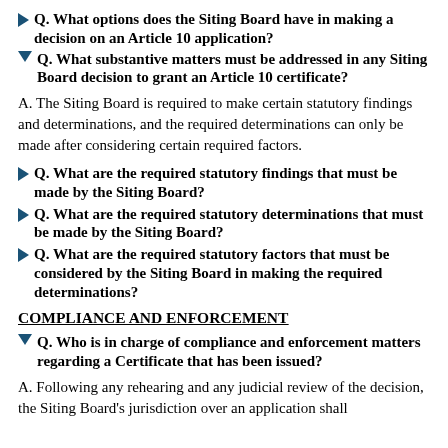Q. What options does the Siting Board have in making a decision on an Article 10 application?
Q. What substantive matters must be addressed in any Siting Board decision to grant an Article 10 certificate?
A. The Siting Board is required to make certain statutory findings and determinations, and the required determinations can only be made after considering certain required factors.
Q. What are the required statutory findings that must be made by the Siting Board?
Q. What are the required statutory determinations that must be made by the Siting Board?
Q. What are the required statutory factors that must be considered by the Siting Board in making the required determinations?
COMPLIANCE AND ENFORCEMENT
Q. Who is in charge of compliance and enforcement matters regarding a Certificate that has been issued?
A. Following any rehearing and any judicial review of the decision, the Siting Board's jurisdiction over an application shall